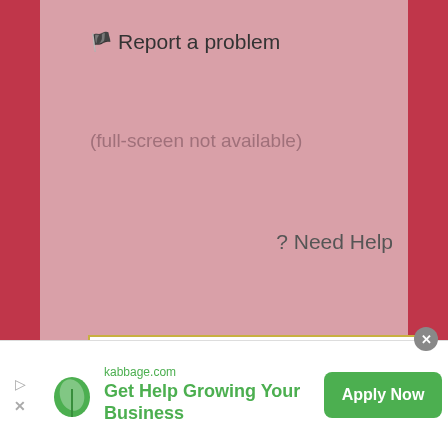🏴 Report a problem
(full-screen not available)
? Need Help
Instructions
Credits
Download
[Figure (infographic): Advertisement banner for kabbage.com: green leaf logo, text 'Get Help Growing Your Business', green 'Apply Now' button, with play and close icons on the left and a close X circle on the top right]